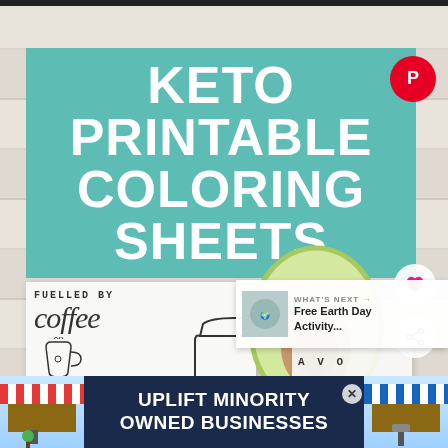[Figure (screenshot): Screenshot of a Pinterest page showing Keto Printable Coloring Sheets. Features a teal banner with white bold text reading 'KETO PRINTABLE COLORING SHEETS', a Pinterest save button, heart and share buttons, coloring page thumbnails including a 'Fuelled By Coffee' page with keto bag, an avocado illustration, and a 'WHAT'S NEXT' panel showing 'Free Earth Day Activity...'. At the bottom is an ad banner 'UPLIFT MINORITY OWNED BUSINESSES'.]